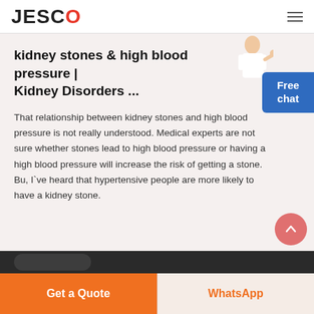JESCO
kidney stones & high blood pressure | Kidney Disorders ...
That relationship between kidney stones and high blood pressure is not really understood. Medical experts are not sure whether stones lead to high blood pressure or having a high blood pressure will increase the risk of getting a stone. Bu, I've heard that hypertensive people are more likely to have a kidney stone.
Free chat
Get a Quote
WhatsApp